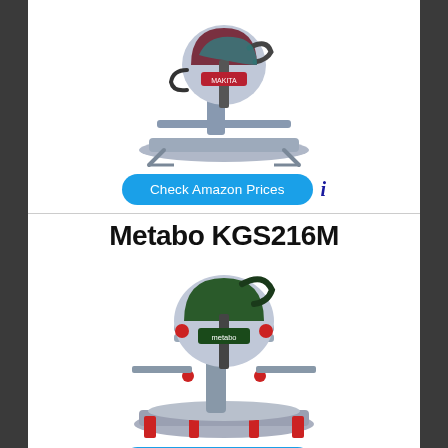[Figure (photo): Makita miter saw / sliding compound miter saw, teal/green and red color, viewed from the side-front angle]
Check Amazon Prices
[Figure (logo): Blue info icon (i)]
Metabo KGS216M
[Figure (photo): Metabo KGS216M sliding compound miter saw, dark green and silver/grey, with red accents, viewed from front-right angle]
Check Amazon Prices
[Figure (logo): Blue info icon (i)]